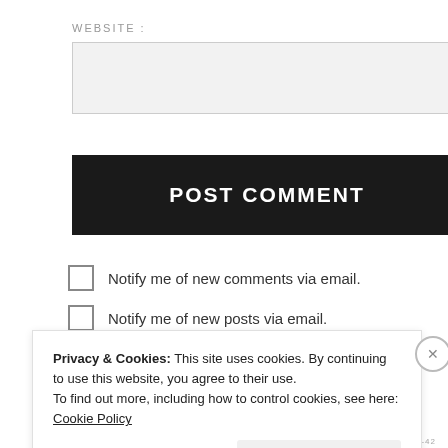WEBSITE
[Figure (screenshot): Empty website text input field with light gray background]
POST COMMENT
Notify me of new comments via email.
Notify me of new posts via email.
This site uses Akismet to reduce spam. Learn how
Privacy & Cookies: This site uses cookies. By continuing to use this website, you agree to their use.
To find out more, including how to control cookies, see here: Cookie Policy
Close and accept